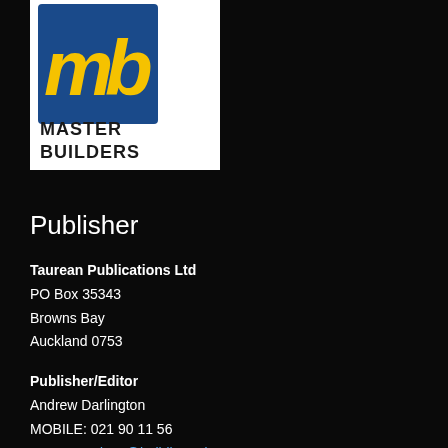[Figure (logo): Master Builders logo: yellow/gold 'mb' letters on a blue square background, with 'MASTER BUILDERS' text below in dark color]
Publisher
Taurean Publications Ltd
PO Box 35343
Browns Bay
Auckland 0753
Publisher/Editor
Andrew Darlington
MOBILE: 021 90 11 56
EMAIL: andrew@buildingtoday.co.nz
Advertising Manager
Martin Griffiths
MOBILE: 021 66 22 28